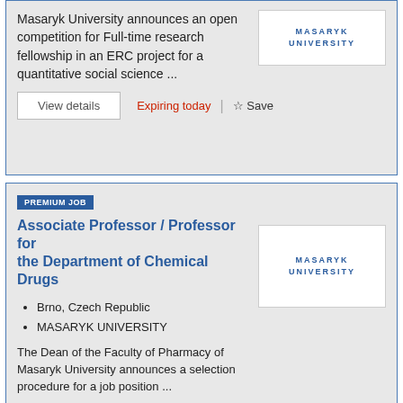Masaryk University announces an open competition for Full-time research fellowship in an ERC project for a quantitative social science ...
View details
Expiring today
Save
PREMIUM JOB
Associate Professor / Professor for the Department of Chemical Drugs
Brno, Czech Republic
MASARYK UNIVERSITY
The Dean of the Faculty of Pharmacy of Masaryk University announces a selection procedure for a job position ...